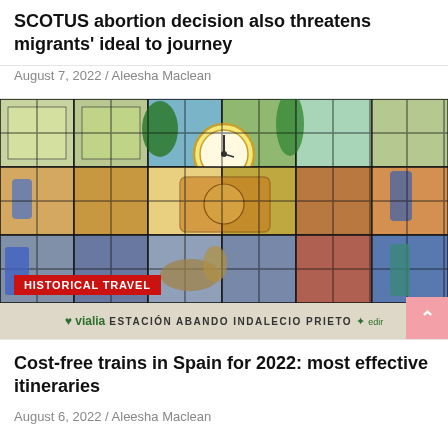SCOTUS abortion decision also threatens migrants' ideal to journey
August 7, 2022 / Aleesha Maclean
[Figure (photo): Stained glass mural at Estación Abando Indalecio Prieto train station in Bilbao, Spain. Large colorful stained glass panels depicting various scenes of Spanish life, with a central clock. The station facade shows the Vialia branding and ESTACIÓN ABANDO INDALECIO PRIETO signage. A red HISTORICAL TRAVEL tag badge is overlaid at the bottom left.]
Cost-free trains in Spain for 2022: most effective itineraries
August 6, 2022 / Aleesha Maclean